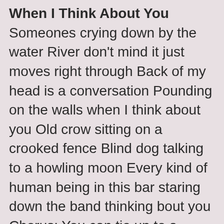When I Think About You Someones crying down by the water River don't mind it just moves right through Back of my head is a conversation Pounding on the walls when I think about you Old crow sitting on a crooked fence Blind dog talking to a howling moon Every kind of human being in this bar staring down the band thinking bout you Chorus: You can tie up to a twisted tree Bury me alive in a hollow groove Chop me up with a butcher knife wouldn't change a thing when I think about you Now here we sit in a wooden cave Stuck inside of this busted tune Can't go out till the sun goes